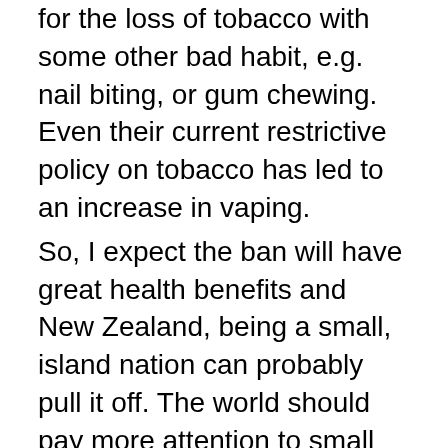for the loss of tobacco with some other bad habit, e.g. nail biting, or gum chewing. Even their current restrictive policy on tobacco has led to an increase in vaping.
So, I expect the ban will have great health benefits and New Zealand, being a small, island nation can probably pull it off. The world should pay more attention to small nations. They can do cool stuff, and the experimentation may show us the way to the future. Costa Rica has no army, and has built itself into an eco-vacation paradise. Iceland threw all their bankers in jail, and has also done amazing things in the field of genetics. Denmark and the Netherlands are world leaders in bike paths, and clean energy.
On the other hand, it is an assault on personal freedom, especially among the Maoris. (who smoke at a significantly higher rate than white New Zealanders)
So, mixed feelings.